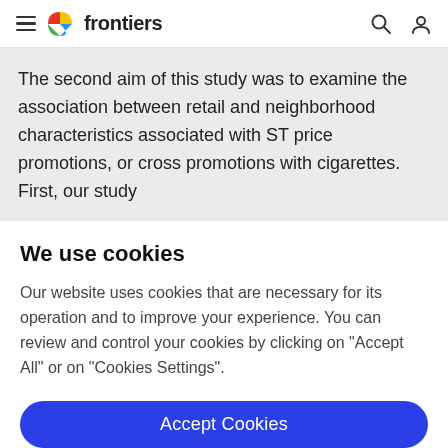frontiers
The second aim of this study was to examine the association between retail and neighborhood characteristics associated with ST price promotions, or cross promotions with cigarettes. First, our study
We use cookies
Our website uses cookies that are necessary for its operation and to improve your experience. You can review and control your cookies by clicking on "Accept All" or on "Cookies Settings".
Accept Cookies
Cookies Settings